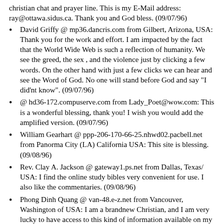christian chat and prayer line. This is my E-Mail address: ray@ottawa.sidus.ca. Thank you and God bless. (09/07/96)
David Griffy @ mp36.dancris.com from Gilbert, Arizona, USA: Thank you for the work and effort. I am impacted by the fact that the World Wide Web is such a reflection of humanity. We see the greed, the sex , and the violence just by clicking a few words. On the other hand with just a few clicks we can hear and see the Word of God. No one will stand before God and say "I did'nt know". (09/07/96)
@ hd36-172.compuserve.com from Lady_Poet@wow.com: This is a wonderful blessing, thank you! I wish you would add the amplified version. (09/07/96)
William Gearhart @ ppp-206-170-66-25.nhwd02.pacbell.net from Panorma City (LA) California USA: This site is blessing. (09/08/96)
Rev. Clay A. Jackson @ gateway1.ps.net from Dallas, Texas/ USA: I find the online study bibles very convenient for use. I also like the commentaries. (09/08/96)
Phong Dinh Quang @ van-48.e-z.net from Vancouver, Washington of USA: I am a brandnew Christian, and I am very lucky to have access to this kind of information available on my fingertips. It helps me to understand more of the Bible, and makes me stronger. In fact, I am not studious at reading the Bible on the daily basic, and I find this a very exciting way to study it. I think that it will make me more interested in reading the Word. Thanks and bless on the road... (09/08/96)